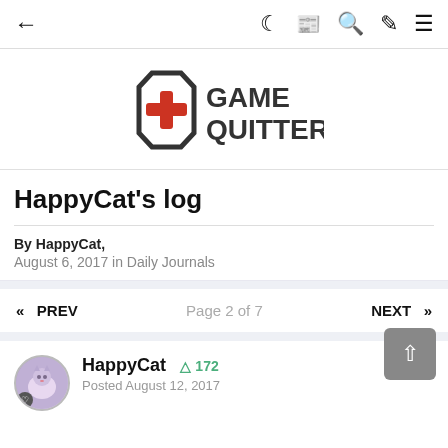← (nav icons) dark-mode, newspaper, search, brush, menu
[Figure (logo): Game Quitters logo: octagon with red cross/plus symbol on left, bold text GAME QUITTERS on right]
HappyCat's log
By HappyCat, August 6, 2017 in Daily Journals
<< PREV   Page 2 of 7   NEXT >>
HappyCat  +172
Posted August 12, 2017